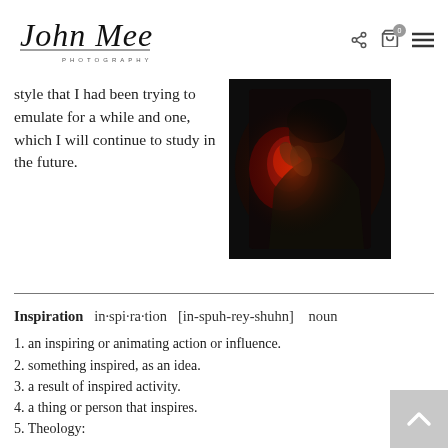[Figure (logo): John Mee Photography cursive logo with PHOTOGRAPHY text below]
style that I had been trying to emulate for a while and one, which I will continue to study in the future.
[Figure (photo): Dramatic dark portrait of a person with hands near face, red accent lighting]
Inspiration  in·spi·ra·tion  [in-spuh-rey-shuhn]  noun
1. an inspiring or animating action or influence.
2. something inspired, as an idea.
3. a result of inspired activity.
4. a thing or person that inspires.
5. Theology: